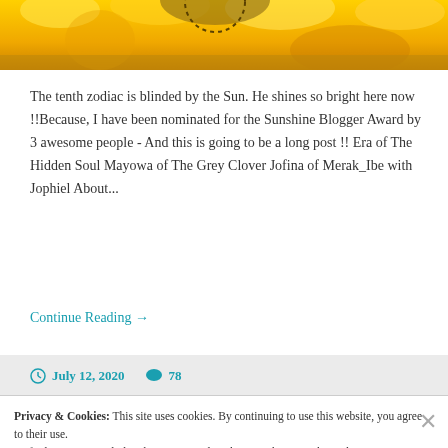[Figure (photo): Sunflower image cropped at top, showing yellow petals and partial center]
The tenth zodiac is blinded by the Sun. He shines so bright here now !!Because, I have been nominated for the Sunshine Blogger Award by 3 awesome people - And this is going to be a long post !! Era of The Hidden Soul Mayowa of The Grey Clover Jofina of Merak_Ibe with Jophiel About...
Continue Reading →
July 12, 2020   78
Privacy & Cookies: This site uses cookies. By continuing to use this website, you agree to their use.
To find out more, including how to control cookies, see here: Cookie Policy
Close and accept